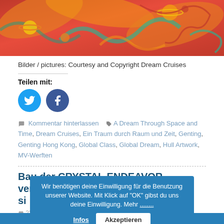[Figure (illustration): Colorful cosmic/dragon-themed artwork with red, orange, teal swirls, planets and a dragon-like figure]
Bilder / pictures: Courtesy and Copyright Dream Cruises
Teilen mit:
[Figure (infographic): Twitter and Facebook circular social share buttons in blue]
Kommentar hinterlassen  A Dream Through Space and Time, Dream Cruises, Ein Traum durch Raum und Zeit, Genting, Genting Hong Kong, Global Class, Global Dream, Hull Artwork, MV-Werften
Bau der CRYSTAL ENDEAVOR verzögert sich
Wir benötigen deine Einwilligung für die Benutzung unserer Website. Mit Klick auf "OK" gibst du uns deine Einwilligung. Mehr
23. Juni 2019  Norbert
[Figure (other): Bottom blue bar]